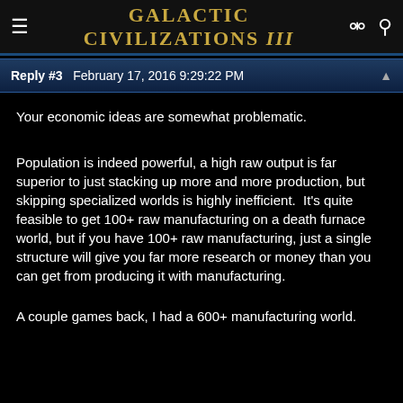Galactic Civilizations III
Reply #3   February 17, 2016 9:29:22 PM
Your economic ideas are somewhat problematic.
Population is indeed powerful, a high raw output is far superior to just stacking up more and more production, but skipping specialized worlds is highly inefficient.  It's quite feasible to get 100+ raw manufacturing on a death furnace world, but if you have 100+ raw manufacturing, just a single structure will give you far more research or money than you can get from producing it with manufacturing.
A couple games back, I had a 600+ manufacturing world. This would be considered highly inefficient the likes of...